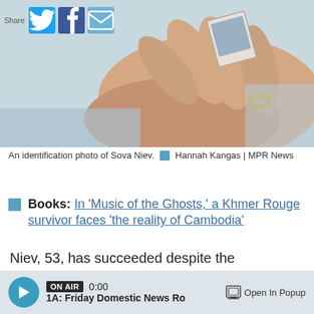[Figure (photo): Close-up photo of a hand holding what appears to be a small identification photo, with a gold ring visible on one finger.]
An identification photo of Sova Niev.  Hannah Kangas | MPR News
Books: In 'Music of the Ghosts,' a Khmer Rouge survivor faces 'the reality of Cambodia'
Niev, 53, has succeeded despite the challenges she's faced.